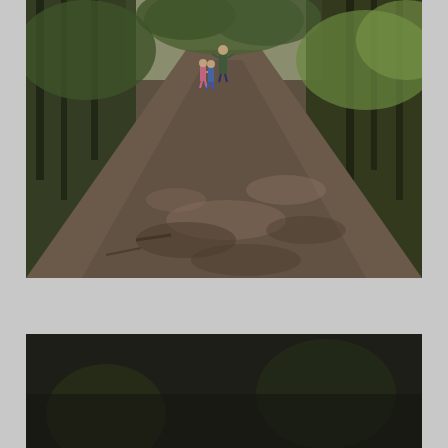[Figure (photo): Outdoor photo of a wide gravel/dirt forest path with tall trees on both sides. Two small children and an adult figure stand in the middle distance on the path, surrounded by green foliage and dappled sunlight.]
[Figure (photo): A partially visible dark forest/outdoor scene overlaid with an error message: 'The media could not be loaded, either because the server or network failed or because the format is not supported.']